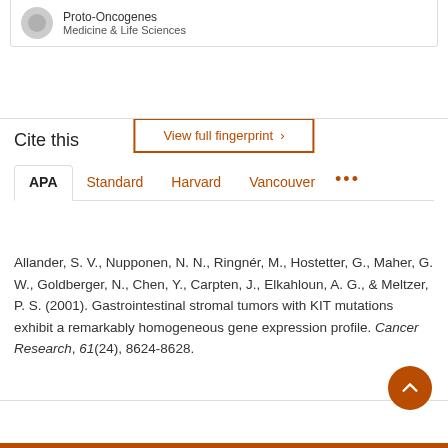Proto-Oncogenes
Medicine & Life Sciences
View full fingerprint >
Cite this
APA | Standard | Harvard | Vancouver | ...
Allander, S. V., Nupponen, N. N., Ringnér, M., Hostetter, G., Maher, G. W., Goldberger, N., Chen, Y., Carpten, J., Elkahloun, A. G., & Meltzer, P. S. (2001). Gastrointestinal stromal tumors with KIT mutations exhibit a remarkably homogeneous gene expression profile. Cancer Research, 61(24), 8624-8628.